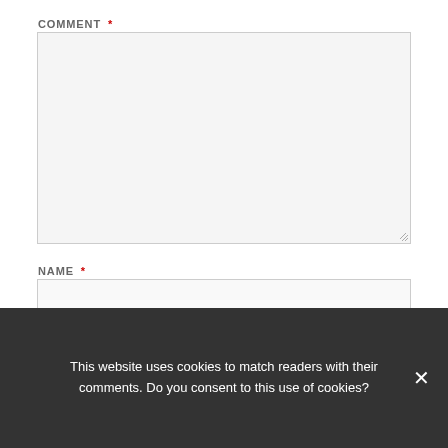COMMENT *
[Figure (screenshot): Empty comment textarea input field with light gray background]
NAME *
[Figure (screenshot): Empty name input field with light gray background]
EMAIL *
WEBSITE
This website uses cookies to match readers with their comments. Do you consent to this use of cookies?